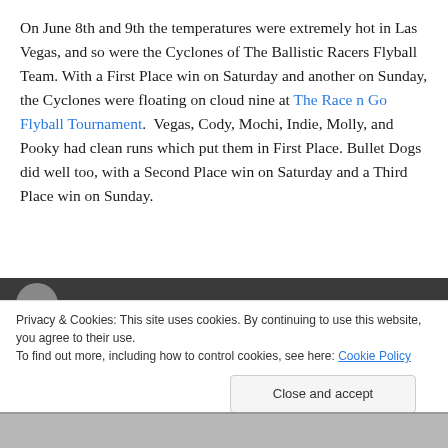On June 8th and 9th the temperatures were extremely hot in Las Vegas, and so were the Cyclones of The Ballistic Racers Flyball Team. With a First Place win on Saturday and another on Sunday, the Cyclones were floating on cloud nine at The Race n Go Flyball Tournament.  Vegas, Cody, Mochi, Indie, Molly, and Pooky had clean runs which put them in First Place. Bullet Dogs did well too, with a Second Place win on Saturday and a Third Place win on Sunday.
[Figure (photo): Dark banner/photo strip with circular avatar visible at top, cropped]
Privacy & Cookies: This site uses cookies. By continuing to use this website, you agree to their use.
To find out more, including how to control cookies, see here: Cookie Policy
[Figure (photo): Bottom strip of a black and white photograph]